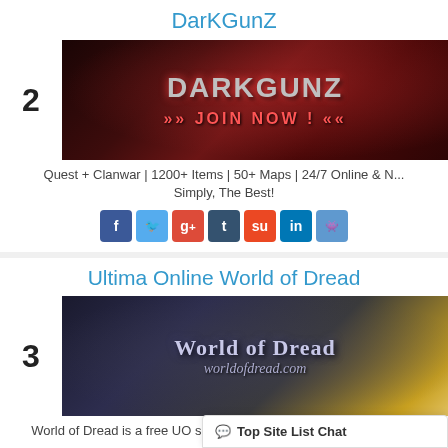DarKGunZ
[Figure (illustration): DarkGunZ game banner with dark red background showing animated characters and text DARKGUNZ with JOIN NOW]
Quest + Clanwar | 1200+ Items | 50+ Maps | 24/7 Online & N... Simply, The Best!
Ultima Online World of Dread
[Figure (illustration): World of Dread game banner showing animated characters, World of Dread logo and worldofdread.com URL]
World of Dread is a free UO server which has been running since... it!
Eagle
Top Site List Chat